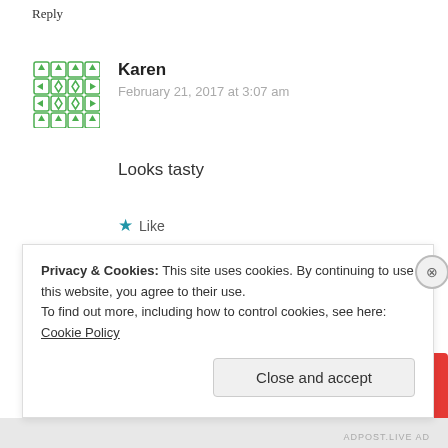Reply
[Figure (illustration): Green geometric avatar icon for user Karen]
Karen
February 21, 2017 at 3:07 am
Looks tasty
Like
Reply
[Figure (photo): Partially visible book or product image showing '99% INVISIBLE' text in yellow on dark background with blue card]
Privacy & Cookies: This site uses cookies. By continuing to use this website, you agree to their use.
To find out more, including how to control cookies, see here: Cookie Policy
Close and accept